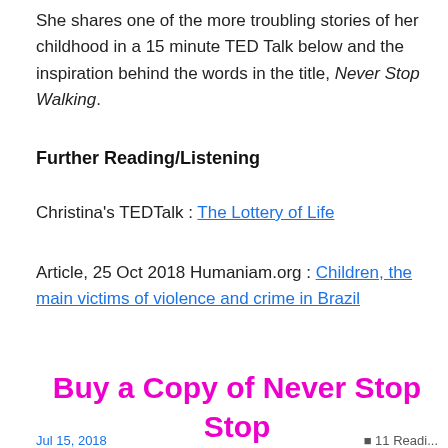She shares one of the more troubling stories of her childhood in a 15 minute TED Talk below and the inspiration behind the words in the title, Never Stop Walking.
Further Reading/Listening
Christina's TEDTalk : The Lottery of Life
Article, 25 Oct 2018 Humaniam.org : Children, the main victims of violence and crime in Brazil
Buy a Copy of Never Stop Stop Walking via Book Depository
Jul 15, 2018 ... 11 Readin...